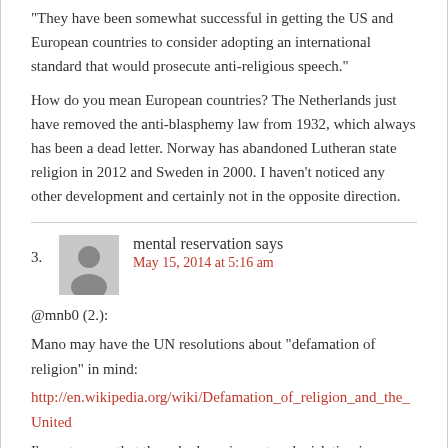“They have been somewhat successful in getting the US and European countries to consider adopting an international standard that would prosecute anti-religious speech.” How do you mean European countries? The Netherlands just have removed the anti-blasphemy law from 1932, which always has been a dead letter. Norway has abandoned Lutheran state religion in 2012 and Sweden in 2000. I haven’t noticed any other development and certainly not in the opposite direction.
mental reservation says
May 15, 2014 at 5:16 am
@mnb0 (2.): Mano may have the UN resolutions about “defamation of religion” in mind: http://en.wikipedia.org/wiki/Defamation_of_religion_and_the_United I’m not aware that those had any impact on legislation in western countries, though.